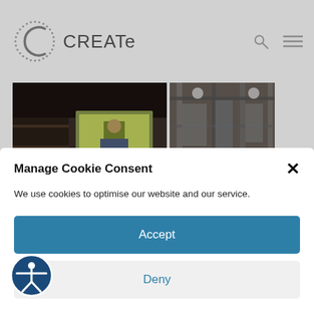CREATe
[Figure (photo): Two photographs side by side showing a conference or event venue with a projection screen displaying a speaker's image]
Contemporary cultural policy is made and implemented where culture, politics and the economy meet. It is
Manage Cookie Consent
We use cookies to optimise our website and our service.
Accept
Deny